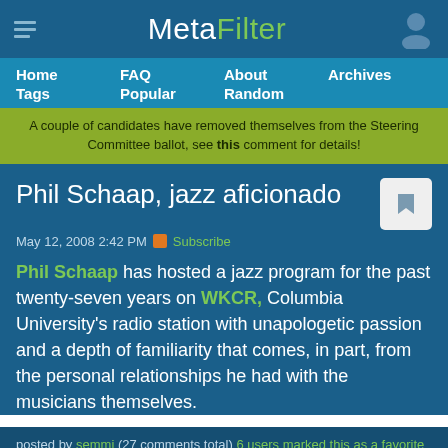MetaFilter
Home   FAQ   About   Archives   Tags   Popular   Random
A couple of candidates have removed themselves from the Steering Committee ballot, see this comment for details!
Phil Schaap, jazz aficionado
May 12, 2008 2:42 PM  Subscribe
Phil Schaap has hosted a jazz program for the past twenty-seven years on WKCR, Columbia University’s radio station with unapologetic passion and a depth of familiarity that comes, in part, from the personal relationships he had with the musicians themselves.
posted by semmi (27 comments total) 6 users marked this as a favorite